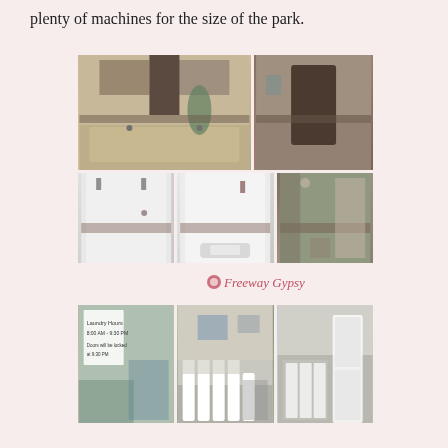plenty of machines for the size of the park.
[Figure (photo): Six photos showing bathroom facilities: top row shows vanity with granite countertop and mirror (left), hallway/corridor view (right); bottom row shows three shower stall photos including individual shower units and a wider shower area with curtain.]
Freeway Gypsy (watermark)
[Figure (photo): Three photos showing laundry room facilities: left photo shows door with sign reading 'Laundry Hours 8:00 AM - 9:30 PM, Doors will be locked at 9:30 PM'; center and right photos show rows of white washing machines and dryers inside the laundry room.]